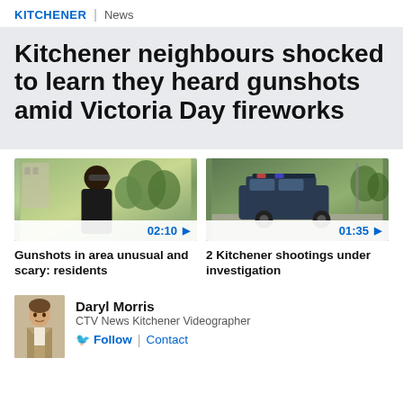KITCHENER | News
Kitchener neighbours shocked to learn they heard gunshots amid Victoria Day fireworks
[Figure (screenshot): Video thumbnail showing a man with sunglasses outdoors with trees in background, duration 02:10]
Gunshots in area unusual and scary: residents
[Figure (screenshot): Video thumbnail showing a police SUV parked on a street, duration 01:35]
2 Kitchener shootings under investigation
[Figure (photo): Author photo of Daryl Morris]
Daryl Morris
CTV News Kitchener Videographer
Follow | Contact